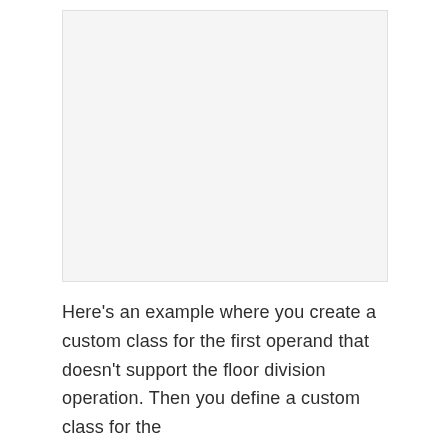[Figure (other): Blank/whitespace image placeholder area at the top of the page]
Here's an example where you create a custom class for the first operand that doesn't support the floor division operation. Then you define a custom class for the